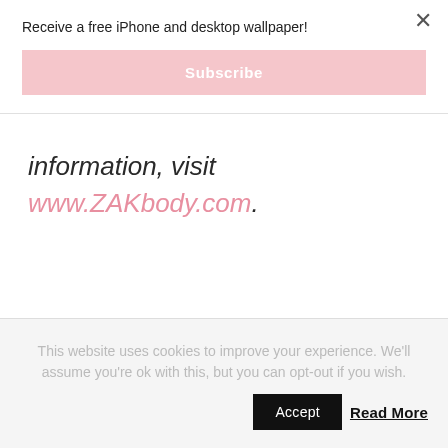Receive a free iPhone and desktop wallpaper!
Subscribe
information, visit
www.ZAKbody.com.
This website uses cookies to improve your experience. We'll assume you're ok with this, but you can opt-out if you wish.
Accept
Read More